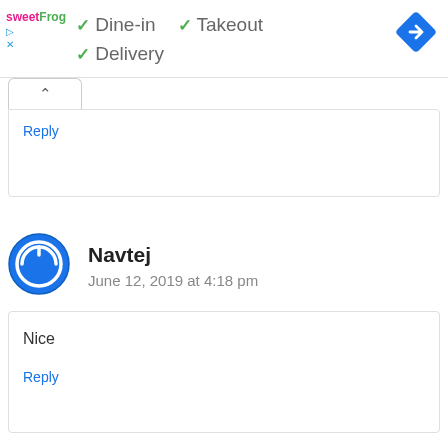[Figure (logo): sweetFrog logo with ad icons]
✓ Dine-in  ✓ Takeout
✓ Delivery
[Figure (illustration): Blue diamond navigation/directions icon]
Reply
[Figure (logo): Navtej user avatar - blue circle with power icon]
Navtej
June 12, 2019 at 4:18 pm
Nice
Reply